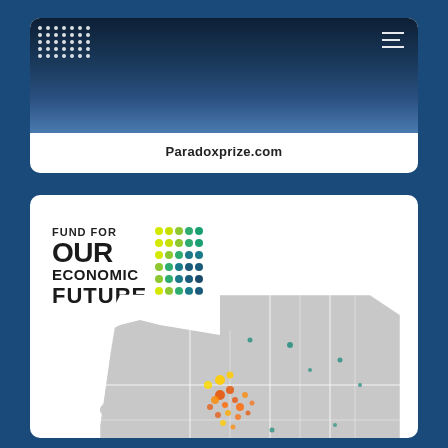[Figure (photo): Dark navy blue textured background image with white dot grid pattern in top-left corner and hamburger menu icon in top-right corner]
Paradoxprize.com
[Figure (logo): Fund for Our Economic Future logo with colorful dot grid and text]
[Figure (map): Geographic map showing Northeast Ohio region with county boundaries and colored data points in various colors (teal, orange, red, yellow, blue)]